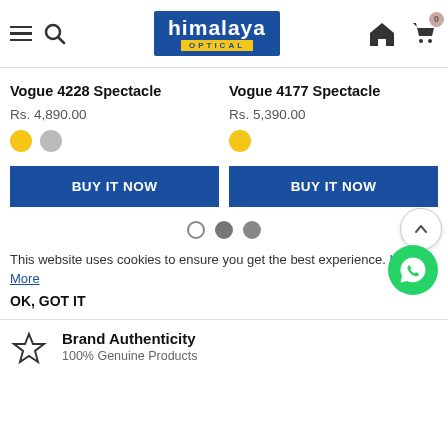himalaya OPTICAL — navigation header
Vogue 4228 Spectacle
Rs. 4,890.00
Vogue 4177 Spectacle
Rs. 5,390.00
BUY IT NOW
BUY IT NOW
This website uses cookies to ensure you get the best experience. Learn More
OK, GOT IT
Brand Authenticity
100% Genuine Products